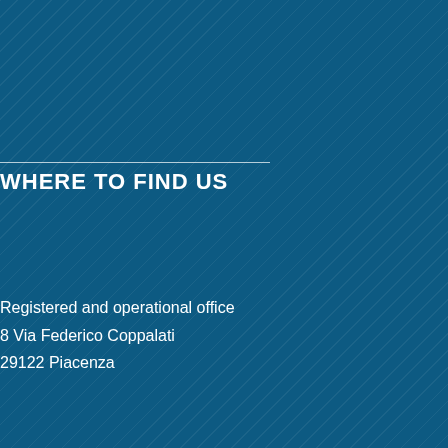WHERE TO FIND US
Registered and operational office
8 Via Federico Coppalati
29122 Piacenza